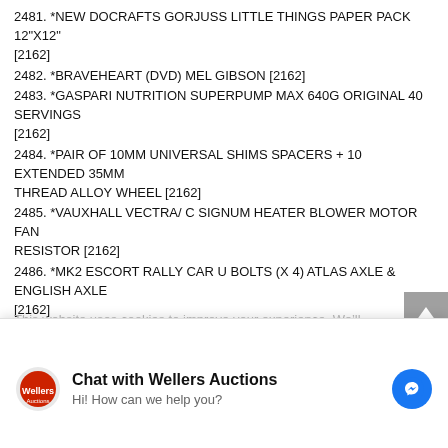2481. *NEW DOCRAFTS GORJUSS LITTLE THINGS PAPER PACK 12"X12" [2162]
2482. *BRAVEHEART (DVD) MEL GIBSON [2162]
2483. *GASPARI NUTRITION SUPERPUMP MAX 640G ORIGINAL 40 SERVINGS [2162]
2484. *PAIR OF 10MM UNIVERSAL SHIMS SPACERS + 10 EXTENDED 35MM THREAD ALLOY WHEEL [2162]
2485. *VAUXHALL VECTRA/ C SIGNUM HEATER BLOWER MOTOR FAN RESISTOR [2162]
2486. *MK2 ESCORT RALLY CAR U BOLTS (X 4) ATLAS AXLE & ENGLISH AXLE [2162]
2487. *ANKER POWERLINE+ MICRO USB (6FT) ONE OF THE PREMIUM, FASTEST, MOST DURABLE CABLE [2162]
2488. *28 X SHISHA TANKS REPLACEMENT 510 FITTING [2162]
2489. *300 SIXPENCE COINS. DATES FROM 1947-1967. GEORGE VI & ELIZABETH II. [2162]
2490. *A5 SIZE – 2013/ 2014 ONE WEEK TO A VIEW ACADEMIC DIARY [2162]
This website uses cookies to improve your experience. We'll
[Figure (other): Chat with Wellers Auctions messenger overlay widget with logo, title, subtitle 'Hi! How can we help you?' and Facebook Messenger icon]